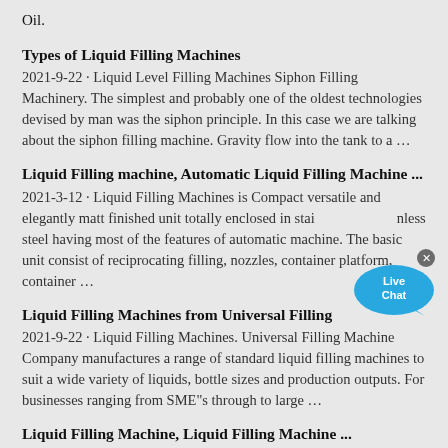Oil.
Types of Liquid Filling Machines
2021-9-22 · Liquid Level Filling Machines Siphon Filling Machinery. The simplest and probably one of the oldest technologies devised by man was the siphon principle. In this case we are talking about the siphon filling machine. Gravity flow into the tank to a …
Liquid Filling machine, Automatic Liquid Filling Machine ...
2021-3-12 · Liquid Filling Machines is Compact versatile and elegantly matt finished unit totally enclosed in stainless steel having most of the features of automatic machine. The basic unit consist of reciprocating filling, nozzles, container platform, container …
Liquid Filling Machines from Universal Filling
2021-9-22 · Liquid Filling Machines. Universal Filling Machine Company manufactures a range of standard liquid filling machines to suit a wide variety of liquids, bottle sizes and production outputs. For businesses ranging from SME"s through to large …
Liquid Filling Machine, Liquid Filling Machine ...
2021-8-10 · AUTOMATIC LIQUID FILLING MACHINE. Being the leading Automatic Liquid Filling Machine Manufacturer, we are always committed to make the top standard quality of our machine in achieving the quality…